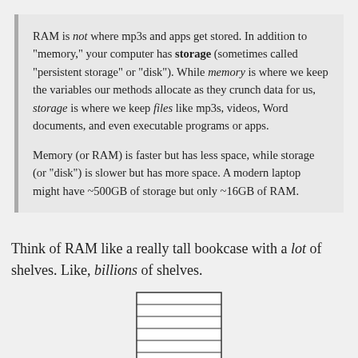RAM is not where mp3s and apps get stored. In addition to "memory," your computer has storage (sometimes called "persistent storage" or "disk"). While memory is where we keep the variables our methods allocate as they crunch data for us, storage is where we keep files like mp3s, videos, Word documents, and even executable programs or apps.

Memory (or RAM) is faster but has less space, while storage (or "disk") is slower but has more space. A modern laptop might have ~500GB of storage but only ~16GB of RAM.
Think of RAM like a really tall bookcase with a lot of shelves. Like, billions of shelves.
[Figure (illustration): A simple line-drawn bookcase with 6 horizontal shelves, shown as a rectangle divided into 6 equal rows by horizontal lines.]